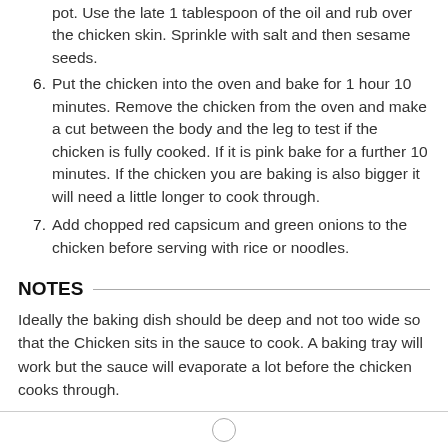(continuation) pot. Use the late 1 tablespoon of the oil and rub over the chicken skin. Sprinkle with salt and then sesame seeds.
6. Put the chicken into the oven and bake for 1 hour 10 minutes. Remove the chicken from the oven and make a cut between the body and the leg to test if the chicken is fully cooked. If it is pink bake for a further 10 minutes. If the chicken you are baking is also bigger it will need a little longer to cook through.
7. Add chopped red capsicum and green onions to the chicken before serving with rice or noodles.
NOTES
Ideally the baking dish should be deep and not too wide so that the Chicken sits in the sauce to cook. A baking tray will work but the sauce will evaporate a lot before the chicken cooks through.